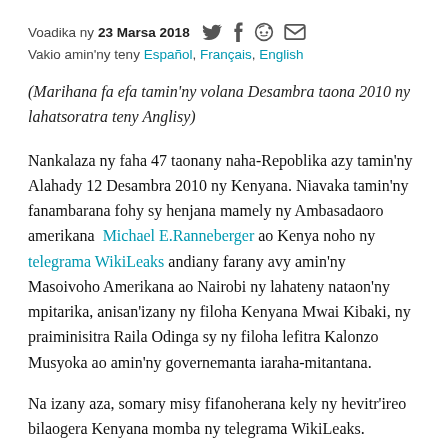Voadika ny 23 Marsa 2018
Vakio amin'ny teny Español, Français, English
(Marihana fa efa tamin'ny volana Desambra taona 2010 ny lahatsoratra teny Anglisy)
Nankalaza ny faha 47 taonany naha-Repoblika azy tamin'ny Alahady 12 Desambra 2010 ny Kenyana. Niavaka tamin'ny fanambarana fohy sy henjana mamely ny Ambasadaoro amerikana Michael E.Ranneberger ao Kenya noho ny telegrama WikiLeaks andiany farany avy amin'ny Masoivoho Amerikana ao Nairobi ny lahateny nataon'ny mpitarika, anisan'izany ny filoha Kenyana Mwai Kibaki, ny praiminisitra Raila Odinga sy ny filoha lefitra Kalonzo Musyoka ao amin'ny governemanta iaraha-mitantana.
Na izany aza, somary misy fifanoherana kely ny hevitr'ireo bilaogera Kenyana momba ny telegrama WikiLeaks. Odogla Nyoro ao amin'ny lahatsoratra" WikiLeaks eo amin'ny ...